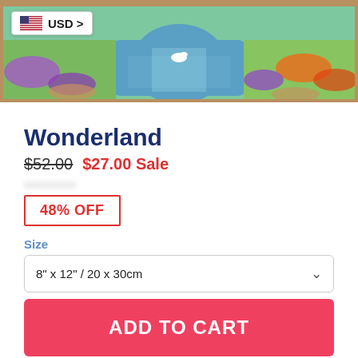[Figure (photo): A framed painting of a colorful garden with a river, swans, flowers (purple, orange, red), and a winding path. A USD currency badge with US flag is overlaid in the top-left corner.]
Wonderland
$52.00  $27.00 Sale
48% OFF
Size
8" x 12" / 20 x 30cm
ADD TO CART
| Order More, Save More! | Discount |
| --- | --- |